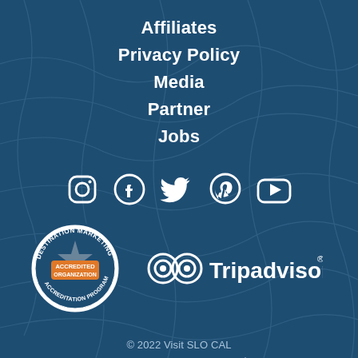Affiliates
Privacy Policy
Media
Partner
Jobs
[Figure (infographic): Social media icons: Instagram, Facebook, Twitter, Pinterest, YouTube]
[Figure (logo): Destination Marketing Accredited Organization logo (circular badge with star) and Tripadvisor logo]
© 2022 Visit SLO CAL
powered by simpleview